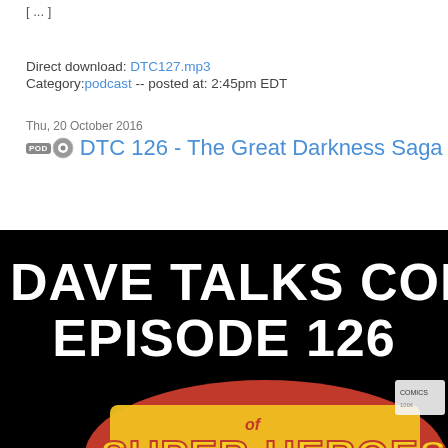[ ... ]
Direct download: DTC127.mp3
Category:podcast -- posted at: 2:45pm EDT
Thu, 20 October 2016
DTC 126 - The Great Darkness Saga Pa...
[Figure (photo): Podcast episode image showing 'Dave Talks Comics Episode 126' text over a black background with a comic book cover featuring Super-Heroes characters in green with colorful background.]